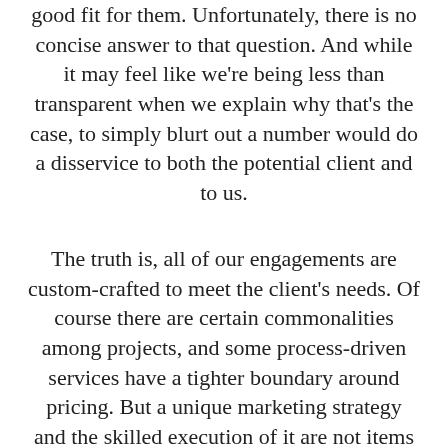good fit for them. Unfortunately, there is no concise answer to that question. And while it may feel like we're being less than transparent when we explain why that's the case, to simply blurt out a number would do a disservice to both the potential client and to us.
The truth is, all of our engagements are custom-crafted to meet the client's needs. Of course there are certain commonalities among projects, and some process-driven services have a tighter boundary around pricing. But a unique marketing strategy and the skilled execution of it are not items you can select from a menu the way you would a chicken sandwich and a side. The